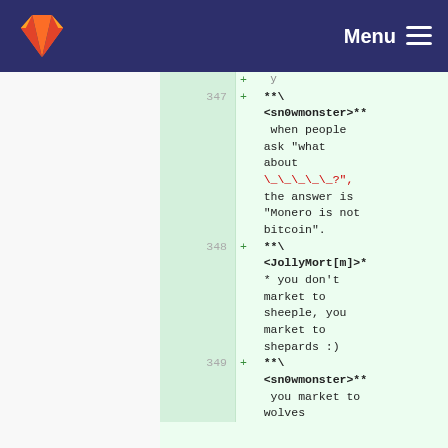GitLab Menu
[Figure (screenshot): GitLab diff view showing lines 347-349 with added lines in green. Line 347: **\ <sn0wmonster>** when people ask "what about \_\_\_\_\_?", the answer is "Monero is not bitcoin". Line 348: **\ <JollyMort[m]>* you don't market to sheeple, you market to shepards :). Line 349: **\ <sn0wmonster>** you market to wolves]